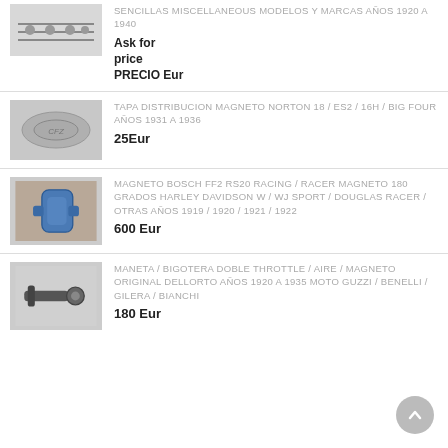[Figure (photo): Miscellaneous small metal parts / tools]
SENCILLAS MISCELLANEOUS MODELOS Y MARCAS AÑOS 1920 A 1940
Ask for price
PRECIO Eur
[Figure (photo): Metal distributor cap / magneto cover, oval shaped with embossed text]
TAPA DISTRIBUCION MAGNETO NORTON 18 / ES2 / 16H / BIG FOUR AÑOS 1931 A 1936
25Eur
[Figure (photo): Blue Bosch magneto device]
MAGNETO BOSCH FF2 RS20 RACING / RACER MAGNETO 180 GRADOS HARLEY DAVIDSON W / WJ SPORT / DOUGLAS RACER / OTRAS AÑOS 1919 / 1920 / 1921 / 1922
600 Eur
[Figure (photo): Metal throttle / aire lever handle part]
MANETA / BIGOTERA DOBLE THROTTLE / AIRE / MAGNETO ORIGINAL DELLORTO AÑOS 1920 A 1935 MOTO GUZZI / BENELLI / GILERA / BIANCHI
180 Eur